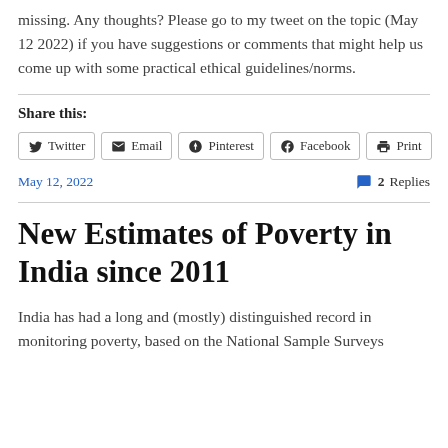missing. Any thoughts? Please go to my tweet on the topic (May 12 2022) if you have suggestions or comments that might help us come up with some practical ethical guidelines/norms.
Share this:
[Figure (other): Social share buttons: Twitter, Email, Pinterest, Facebook, Print]
May 12, 2022
2 Replies
New Estimates of Poverty in India since 2011
India has had a long and (mostly) distinguished record in monitoring poverty, based on the National Sample Surveys